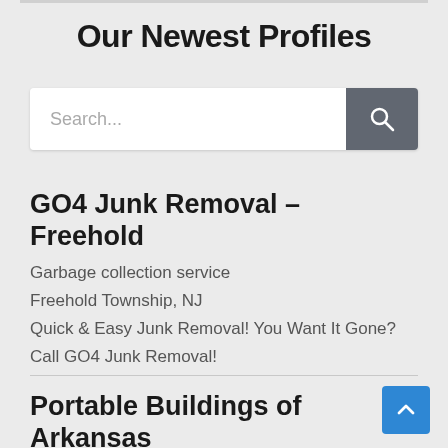Our Newest Profiles
[Figure (screenshot): Search bar with text input placeholder 'Search...' and a dark gray search button with magnifier icon]
GO4 Junk Removal – Freehold
Garbage collection service
Freehold Township, NJ
Quick & Easy Junk Removal! You Want It Gone? Call GO4 Junk Removal!
Portable Buildings of Arkansas
Metal fabricator